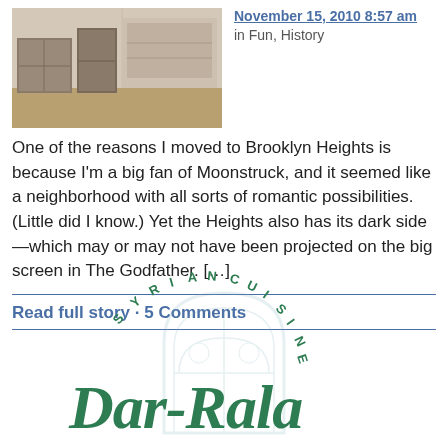[Figure (photo): Interior photo of a room with furniture, appears to be a corridor or hallway with cabinets]
November 15, 2010 8:57 am in Fun, History
One of the reasons I moved to Brooklyn Heights is because I'm a big fan of Moonstruck, and it seemed like a neighborhood with all sorts of romantic possibilities. (Little did I know.) Yet the Heights also has its dark side—which may or may not have been projected on the big screen in The Godfather. […]
Read full story · 5 Comments
[Figure (logo): Syrian Cuisine Dar-Rasa restaurant logo with decorative arch and circular text]